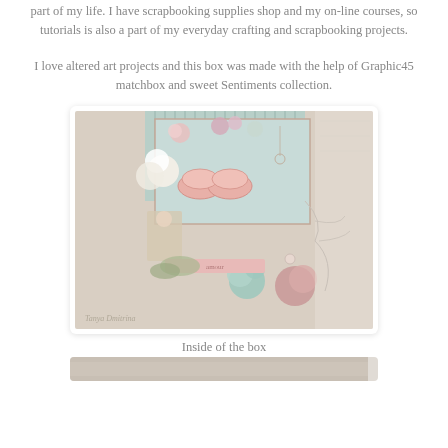part of my life. I have scrapbooking supplies shop and my on-line courses, so tutorials is also a part of my everyday crafting and scrapbooking projects.
I love altered art projects and this box was made with the help of Graphic45 matchbox and sweet Sentiments collection.
[Figure (photo): A decorated altered art matchbox project featuring pink baby shoes, flowers, lace, vintage imagery, and embellishments in a shabby chic style. Watermark reads Tanya Dmitrina.]
Inside of the box
[Figure (photo): Partial view of the inside of the decorated box, cropped at bottom of page.]